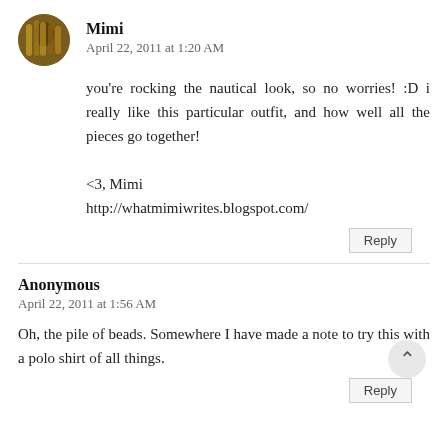Mimi
April 22, 2011 at 1:20 AM
you're rocking the nautical look, so no worries! :D i really like this particular outfit, and how well all the pieces go together!
<3, Mimi
http://whatmimiwrites.blogspot.com/
Reply
Anonymous
April 22, 2011 at 1:56 AM
Oh, the pile of beads. Somewhere I have made a note to try this with a polo shirt of all things.
Reply